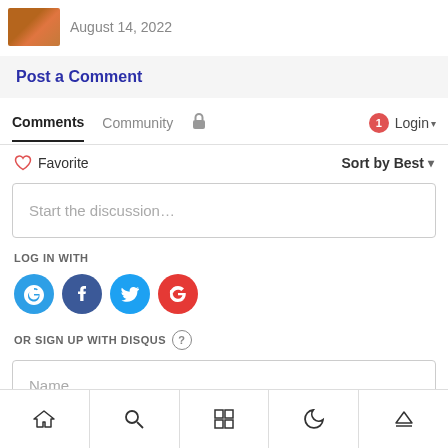[Figure (photo): Small thumbnail image of a person or object, brownish/orange tones]
August 14, 2022
Post a Comment
Comments  Community  🔒  1  Login ▾
♡ Favorite    Sort by Best ▾
Start the discussion…
LOG IN WITH
[Figure (logo): Row of social login icons: Disqus (blue D), Facebook (dark blue f), Twitter (light blue bird), Google (red G)]
OR SIGN UP WITH DISQUS ?
Name
[Figure (infographic): Bottom navigation bar with icons: home, search, grid, moon/dark mode, eject/up arrow]